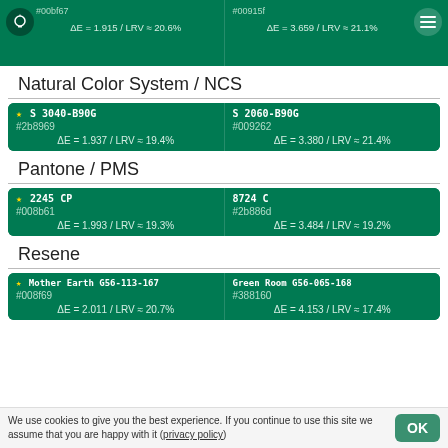[Figure (infographic): Top partial color comparison cards showing hex codes #00bf67 and #00915f with delta E and LRV values, with lightbulb and menu icons]
Natural Color System / NCS
| NCS Match 1 | NCS Match 2 |
| --- | --- |
| ★ S 3040-B90G
#2b8969
ΔE = 1.937 / LRV ≈ 19.4% | S 2060-B90G
#009262
ΔE = 3.380 / LRV ≈ 21.4% |
Pantone / PMS
| Pantone Match 1 | Pantone Match 2 |
| --- | --- |
| ★ 2245 CP
#008b61
ΔE = 1.993 / LRV ≈ 19.3% | 8724 C
#2b886d
ΔE = 3.484 / LRV ≈ 19.2% |
Resene
| Resene Match 1 | Resene Match 2 |
| --- | --- |
| ★ Mother Earth G56-113-167
#008f69
ΔE = 2.011 / LRV ≈ 20.7% | Green Room G56-065-168
#388160
ΔE = 4.153 / LRV ≈ 17.4% |
We use cookies to give you the best experience. If you continue to use this site we assume that you are happy with it (privacy policy)